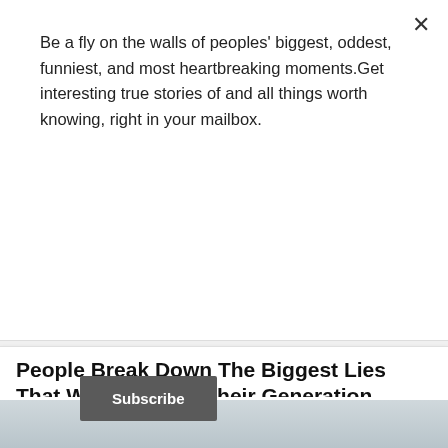Be a fly on the walls of peoples' biggest, oddest, funniest, and most heartbreaking moments.Get interesting true stories of and all things worth knowing, right in your mailbox.
Subscribe
[Figure (logo): Purple banner with orange italic text logo 'mqqq' or similar brand wordmark]
People Break Down The Biggest Lies That Were Sold To Their Generation
By Thomas Dane
July 23 | 2022
[Figure (photo): Partial photo visible at bottom of page, light blue and white tones, hands visible]